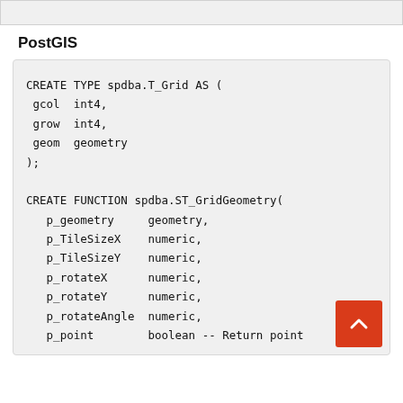[Figure (other): Top gray bar (partial element from previous section)]
PostGIS
CREATE TYPE spdba.T_Grid AS (
 gcol  int4,
 grow  int4,
 geom  geometry
);

CREATE FUNCTION spdba.ST_GridGeometry(
   p_geometry     geometry,
   p_TileSizeX    numeric,
   p_TileSizeY    numeric,
   p_rotateX      numeric,
   p_rotateY      numeric,
   p_rotateAngle  numeric,
   p_point        boolean -- Return point